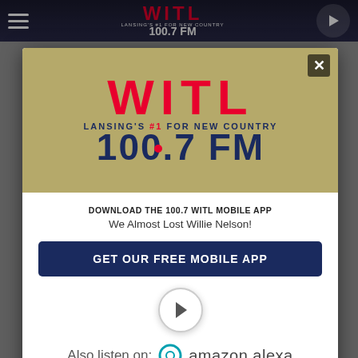[Figure (screenshot): WITL 100.7 FM radio station website screenshot showing a modal popup overlay. The header shows the WITL logo and hamburger menu. A modal dialog displays the WITL logo (Lansing's #1 For New Country 100.7 FM), a download prompt for the mobile app, a 'GET OUR FREE MOBILE APP' button, a play button circle, and an 'Also listen on: amazon alexa' line. Background shows a greyed-out article page.]